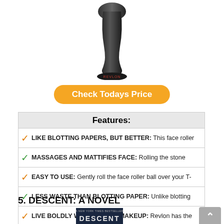[Figure (photo): Revlon face roller product image — black hourglass-shaped stone roller with REVLON text on the base, shown on white background]
Check Todays Price
| Features: |
| --- |
| ✓ LIKE BLOTTING PAPERS, BUT BETTER: This face roller |
| ✓ MASSAGES AND MATTIFIES FACE: Rolling the stone |
| ✓ EASY TO USE: Gently roll the face roller ball over your T- |
| ✓ LESS WASTE THAN BLOTTING PAPER: Unlike blotting |
| ✓ LIVE BOLDLY WITH REVLON MAKEUP: Revlon has the |
5. DESCENT: A NOVEL
[Figure (photo): Book cover of DESCENT: A NOVEL — dark cover with forest silhouette and large DESCENT title text, labeled 'A New York Times Bestseller']
[Figure (other): Scroll-to-top button — grey square button with upward caret arrow]